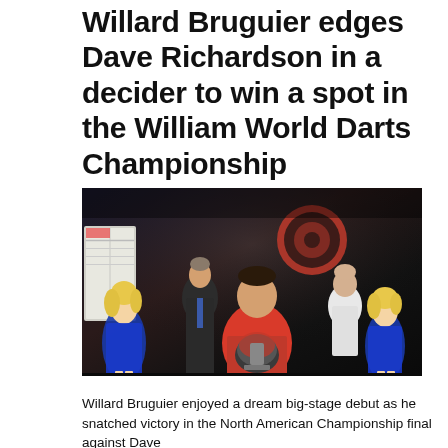Willard Bruguier edges Dave Richardson in a decider to win a spot in the William World Darts Championship
[Figure (photo): Willard Bruguier holding a trophy at a darts event, flanked by two women in blue sequined dresses and two men in a dark venue with a dart board visible in the background. An orange letter P is partially visible in the top right corner.]
Willard Bruguier enjoyed a dream big-stage debut as he snatched victory in the North American Championship final against Dave...